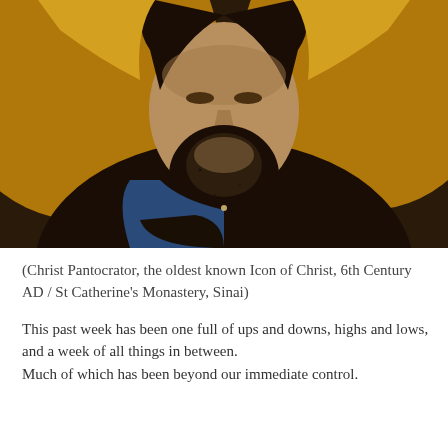[Figure (photo): Close-up of Christ Pantocrator icon — a Byzantine encaustic painting showing the face and upper torso of Christ with dark beard, dark hair, gold halo/background on each side, and dark robes. The oldest known Icon of Christ, 6th Century AD, from St Catherine's Monastery, Sinai.]
(Christ Pantocrator, the oldest known Icon of Christ, 6th Century AD / St Catherine's Monastery, Sinai)
This past week has been one full of ups and downs, highs and lows,
and a week of all things in between.
Much of which has been beyond our immediate control.